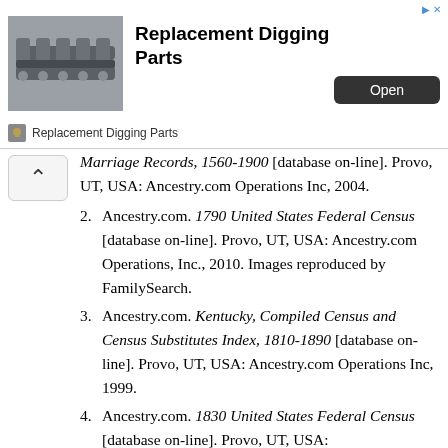[Figure (screenshot): Advertisement banner for Replacement Digging Parts showing chain/track component image, bold title text, and an Open button]
Marriage Records, 1560-1900 [database on-line]. Provo, UT, USA: Ancestry.com Operations Inc, 2004.
2. Ancestry.com. 1790 United States Federal Census [database on-line]. Provo, UT, USA: Ancestry.com Operations, Inc., 2010. Images reproduced by FamilySearch.
3. Ancestry.com. Kentucky, Compiled Census and Census Substitutes Index, 1810-1890 [database on-line]. Provo, UT, USA: Ancestry.com Operations Inc, 1999.
4. Ancestry.com. 1830 United States Federal Census [database on-line]. Provo, UT, USA: